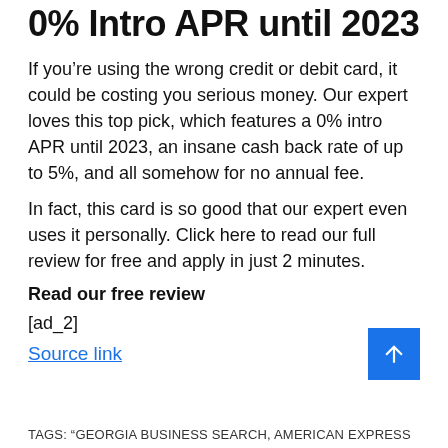0% Intro APR until 2023
If you’re using the wrong credit or debit card, it could be costing you serious money. Our expert loves this top pick, which features a 0% intro APR until 2023, an insane cash back rate of up to 5%, and all somehow for no annual fee.
In fact, this card is so good that our expert even uses it personally. Click here to read our full review for free and apply in just 2 minutes.
Read our free review
[ad_2]
Source link
TAGS: "GEORGIA BUSINESS SEARCH, AMERICAN EXPRESS